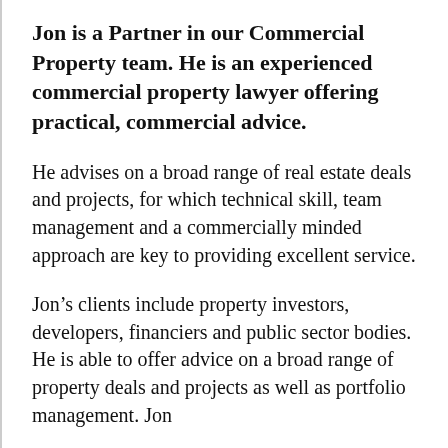Jon is a Partner in our Commercial Property team. He is an experienced commercial property lawyer offering practical, commercial advice.
He advises on a broad range of real estate deals and projects, for which technical skill, team management and a commercially minded approach are key to providing excellent service.
Jon’s clients include property investors, developers, financiers and public sector bodies. He is able to offer advice on a broad range of property deals and projects as well as portfolio management. Jon